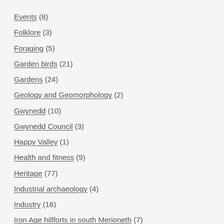Events (8)
Folklore (3)
Foraging (5)
Garden birds (21)
Gardens (24)
Geology and Geomorphology (2)
Gwynedd (10)
Gwynedd Council (3)
Happy Valley (1)
Health and fitness (9)
Heritage (77)
Industrial archaeology (4)
Industry (18)
Iron Age hillforts in south Merioneth (7)
Leaflet (5)
Legends (4)
Literature (2)
Living (83)
Llŷn Mwyingil (1)